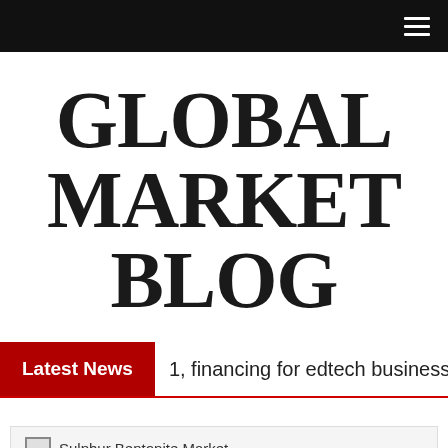≡
GLOBAL MARKET BLOG
Latest News   1, financing for edtech businesses in Euro
[Figure (photo): Broken image placeholder for Sulphur Bentonite Market article thumbnail]